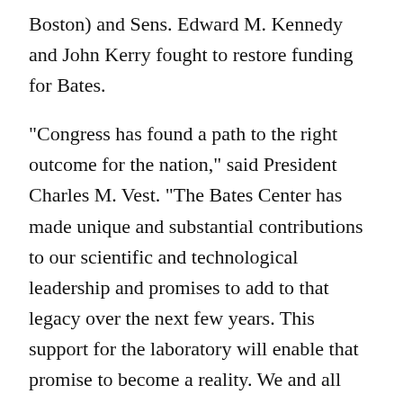Boston) and Sens. Edward M. Kennedy and John Kerry fought to restore funding for Bates.
"Congress has found a path to the right outcome for the nation," said President Charles M. Vest. "The Bates Center has made unique and substantial contributions to our scientific and technological leadership and promises to add to that legacy over the next few years. This support for the laboratory will enable that promise to become a reality. We and all who rely upon Bates are deeply grateful."
Energy Secretary Bill Richardson told President Vest in February that he planned to reverse the administration's initial decision to substantially cut funding for the facility. He visited Bates in April and